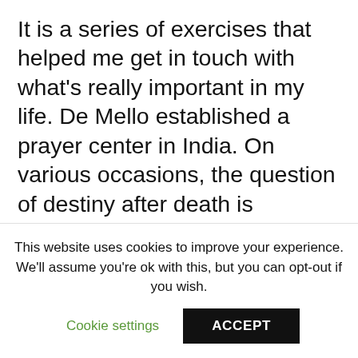It is a series of exercises that helped me get in touch with what's really important in my life. De Mello established a prayer center in India. On various occasions, the question of destiny after death is declared to be irrelevant; only the present life should be of interest. Anthony de Mello offers here an unparalleled approach to inner peace that brings the whole person to prayer — body and soul, heart and mind, memory and imagination. Published September 1st by
This website uses cookies to improve your experience. We'll assume you're ok with this, but you can opt-out if you wish.
Cookie settings
ACCEPT